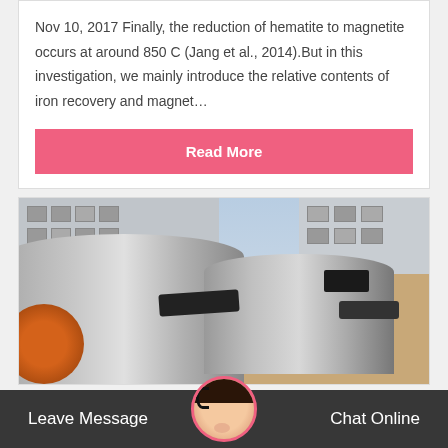Nov 10, 2017 Finally, the reduction of hematite to magnetite occurs at around 850 C (Jang et al., 2014).But in this investigation, we mainly introduce the relative contents of iron recovery and magnet…
Read More
[Figure (photo): Industrial rotary kiln or cylindrical drum equipment photographed outdoors with factory building in background. Large grey metal cylinders/pipes with black collar rings visible. Industrial plant setting.]
Leave Message    Chat Online